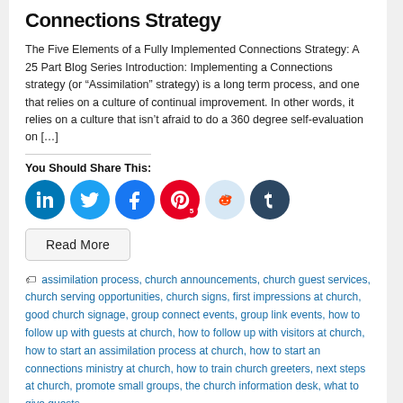Connections Strategy
The Five Elements of a Fully Implemented Connections Strategy: A 25 Part Blog Series Introduction: Implementing a Connections strategy (or “Assimilation” strategy) is a long term process, and one that relies on a culture of continual improvement. In other words, it relies on a culture that isn’t afraid to do a 360 degree self-evaluation on […]
You Should Share This:
[Figure (infographic): Row of six circular social media share buttons: LinkedIn (blue), Twitter (light blue), Facebook (blue), Pinterest (red with badge '5'), Reddit (light blue), Tumblr (dark blue)]
Read More
assimilation process, church announcements, church guest services, church serving opportunities, church signs, first impressions at church, good church signage, group connect events, group link events, how to follow up with guests at church, how to follow up with visitors at church, how to start an assimilation process at church, how to start an connections ministry at church, how to train church greeters, next steps at church, promote small groups, the church information desk, what to give guests